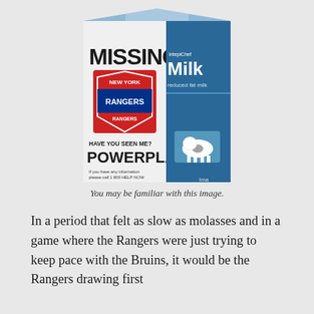[Figure (photo): A milk carton with 'MISSING' printed on it, featuring the New York Rangers hockey team logo. Below the logo it says 'HAVE YOU SEEN ME?' and 'POWERPLAY'. The right side of the carton says 'Milk reduced fat'. The carton parodies missing-person milk carton notices by using the Rangers powerplay as the missing item.]
You may be familiar with this image.
In a period that felt as slow as molasses and in a game where the Rangers were just trying to keep pace with the Bruins, it would be the Rangers drawing first